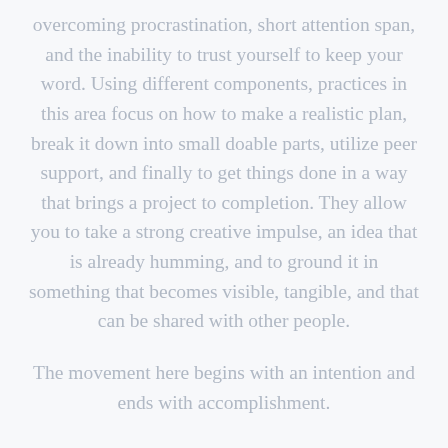overcoming procrastination, short attention span, and the inability to trust yourself to keep your word. Using different components, practices in this area focus on how to make a realistic plan, break it down into small doable parts, utilize peer support, and finally to get things done in a way that brings a project to completion. They allow you to take a strong creative impulse, an idea that is already humming, and to ground it in something that becomes visible, tangible, and that can be shared with other people.
The movement here begins with an intention and ends with accomplishment.